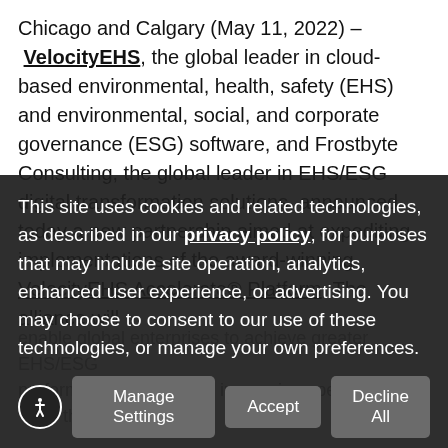Chicago and Calgary (May 11, 2022) – VelocityEHS, the global leader in cloud-based environmental, health, safety (EHS) and environmental, social, and corporate governance (ESG) software, and Frostbyte Consulting, the global leader in EHS/ESG digital transformation solutions, announced today a new partnership aimed at expediting implementations of the award-winning VelocityEHS Accelerate® Platform. The alliance will enable global enterprises to achieve greater EHS/ESG performance faster while increasing speed-to-value on their investment.
The partnership brings together VelocityEHS expertise and proprietary ActiveEHS® solutions — which leverage artificial intelligence to drive a continuous improvement cycle — with Frostby intervention, and outcomes — with Frostby!
This site uses cookies and related technologies, as described in our privacy policy, for purposes that may include site operation, analytics, enhanced user experience, or advertising. You may choose to consent to our use of these technologies, or manage your own preferences.